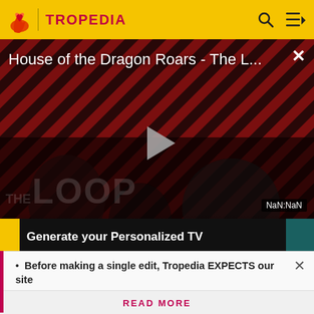TROPEDIA
[Figure (screenshot): Video player showing 'House of the Dragon Roars - The L...' with a play button, diagonal red/dark stripe background, THE LOOP watermark, and NaN:NaN timestamp overlay. Two people visible in darker foreground.]
Generate your Personalized TV
Before making a single edit, Tropedia EXPECTS our site policy and manual of style to be followed. Failure to do so may
READ MORE